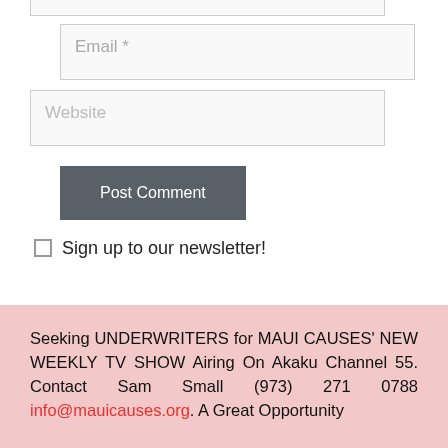Email *
Website
Post Comment
Sign up to our newsletter!
Seeking UNDERWRITERS for MAUI CAUSES' NEW WEEKLY TV SHOW Airing On Akaku Channel 55. Contact Sam Small (973) 271 0788 info@mauicauses.org. A Great Opportunity